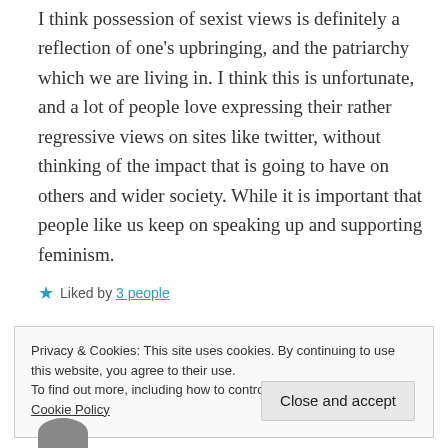I think possession of sexist views is definitely a reflection of one's upbringing, and the patriarchy which we are living in. I think this is unfortunate, and a lot of people love expressing their rather regressive views on sites like twitter, without thinking of the impact that is going to have on others and wider society. While it is important that people like us keep on speaking up and supporting feminism.
Liked by 3 people
Privacy & Cookies: This site uses cookies. By continuing to use this website, you agree to their use.
To find out more, including how to control cookies, see here: Cookie Policy
Close and accept